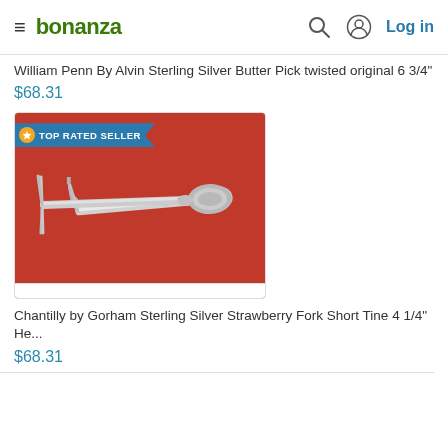bonanza | Log in
William Penn By Alvin Sterling Silver Butter Pick twisted original 6 3/4"
$68.31
[Figure (photo): Photo of a sterling silver strawberry fork with three tines and ornate handle, on a red background. TOP RATED SELLER badge in top left corner.]
Chantilly by Gorham Sterling Silver Strawberry Fork Short Tine 4 1/4" He...
$68.31